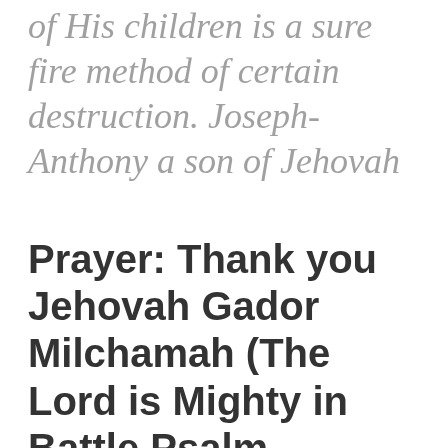of His children is a sure fire method of certain destruction. Joseph-Anthony a son of Jehovah
Prayer: Thank you Jehovah Gador Milchamah (The Lord is Mighty in Battle Psalm